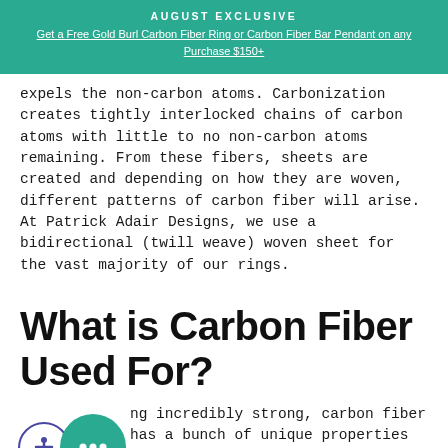AUGUST EXCLUSIVE
Get a Free Gold Burl Carbon Fiber Ring or Carbon Fiber Bar Pendant on any Purchase $150+
expels the non-carbon atoms. Carbonization creates tightly interlocked chains of carbon atoms with little to no non-carbon atoms remaining. From these fibers, sheets are created and depending on how they are woven, different patterns of carbon fiber will arise. At Patrick Adair Designs, we use a bidirectional (twill weave) woven sheet for the vast majority of our rings.
What is Carbon Fiber Used For?
Being incredibly strong, carbon fiber has a bunch of unique properties which makes it a great material for a variety of applications. Check out this fun